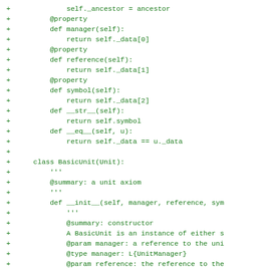[Figure (screenshot): Code diff snippet showing Python class definitions with green '+' added lines. Contains property definitions (manager, reference, symbol), __str__ and __eq__ methods, and a BasicUnit class with docstrings and constructor.]